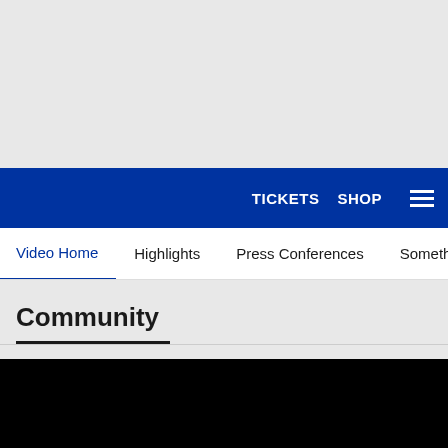[Figure (screenshot): Gray empty area at top of page, appears to be a banner/hero image placeholder]
TICKETS  SHOP  ≡
Video Home  Highlights  Press Conferences  Something to Prove
Community
[Figure (photo): Black video thumbnail area at bottom of page]